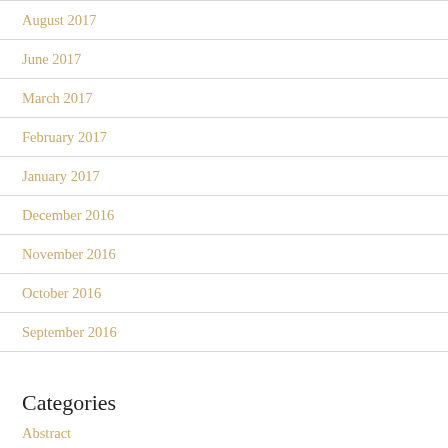August 2017
June 2017
March 2017
February 2017
January 2017
December 2016
November 2016
October 2016
September 2016
Categories
Abstract